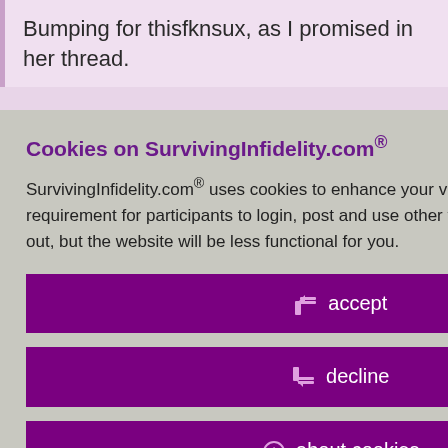Bumping for thisfknsux, as I promised in her thread.
happy!
id 8055979
ember 27th, 2017
ad these
ot alone in my
Policy
Cookies on SurvivingInfidelity.com®
SurvivingInfidelity.com® uses cookies to enhance your visit to our website. This is a requirement for participants to login, post and use other features. Visitors may opt out, but the website will be less functional for you.
accept
decline
about cookies